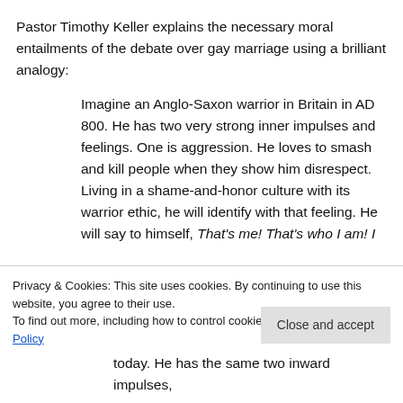Pastor Timothy Keller explains the necessary moral entailments of the debate over gay marriage using a brilliant analogy:
Imagine an Anglo-Saxon warrior in Britain in AD 800. He has two very strong inner impulses and feelings. One is aggression. He loves to smash and kill people when they show him disrespect. Living in a shame-and-honor culture with its warrior ethic, he will identify with that feeling. He will say to himself, That's me! That's who I am! I…
Privacy & Cookies: This site uses cookies. By continuing to use this website, you agree to their use. To find out more, including how to control cookies, see here: Cookie Policy
today. He has the same two inward impulses,